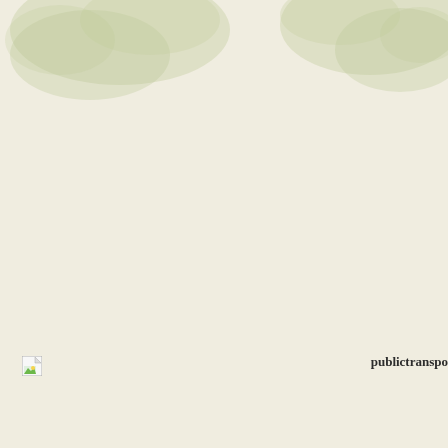[Figure (illustration): Decorative watercolor-style green blobs/clouds at top of page on a cream/off-white background]
[Figure (illustration): Broken image icon (small document with green landscape graphic)]
publictranspo